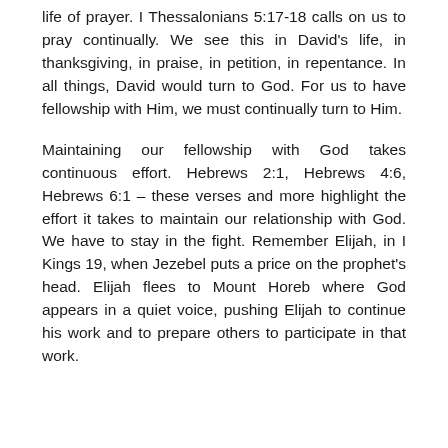life of prayer. I Thessalonians 5:17-18 calls on us to pray continually. We see this in David's life, in thanksgiving, in praise, in petition, in repentance. In all things, David would turn to God. For us to have fellowship with Him, we must continually turn to Him.
Maintaining our fellowship with God takes continuous effort. Hebrews 2:1, Hebrews 4:6, Hebrews 6:1 – these verses and more highlight the effort it takes to maintain our relationship with God. We have to stay in the fight. Remember Elijah, in I Kings 19, when Jezebel puts a price on the prophet's head. Elijah flees to Mount Horeb where God appears in a quiet voice, pushing Elijah to continue his work and to prepare others to participate in that work.